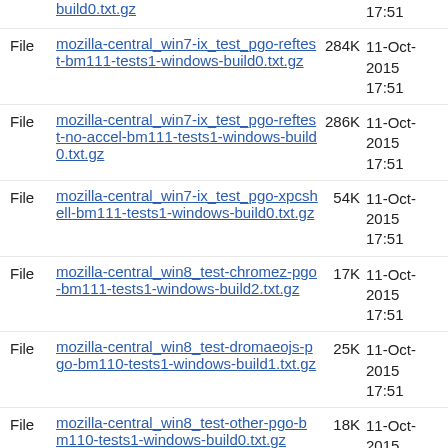File build0.txt.gz 17:51
File mozilla-central_win7-ix_test_pgo-reftest-bm111-tests1-windows-build0.txt.gz 284K 11-Oct-2015 17:51
File mozilla-central_win7-ix_test_pgo-reftest-no-accel-bm111-tests1-windows-build0.txt.gz 286K 11-Oct-2015 17:51
File mozilla-central_win7-ix_test_pgo-xpcshell-bm111-tests1-windows-build0.txt.gz 54K 11-Oct-2015 17:51
File mozilla-central_win8_test-chromez-pgo-bm111-tests1-windows-build2.txt.gz 17K 11-Oct-2015 17:51
File mozilla-central_win8_test-dromaeojs-pgo-bm110-tests1-windows-build1.txt.gz 25K 11-Oct-2015 17:51
File mozilla-central_win8_test-other-pgo-bm110-tests1-windows-build0.txt.gz 18K 11-Oct-2015 17:51
File mozilla-central_win8_test-svgr-pgo-bm110-tests1-windows-build0.txt.gz 313K 11-Oct-2015 17:51
File mozilla-central_win8_test-tp5o-pgo- 174K 11-Oct- 2015